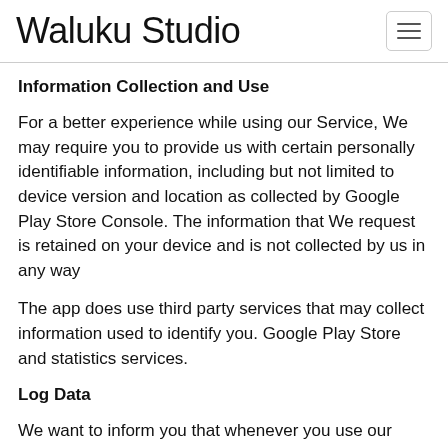Waluku Studio
Information Collection and Use
For a better experience while using our Service, We may require you to provide us with certain personally identifiable information, including but not limited to device version and location as collected by Google Play Store Console. The information that We request is retained on your device and is not collected by us in any way
The app does use third party services that may collect information used to identify you. Google Play Store and statistics services.
Log Data
We want to inform you that whenever you use our Service,